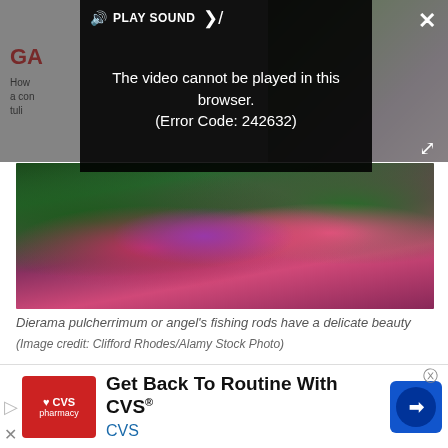[Figure (screenshot): Video player overlay showing error message 'The video cannot be played in this browser. (Error Code: 242632)' with PLAY SOUND button and close/fullscreen controls, overlaid on a webpage about gardening with flower images]
[Figure (photo): Close-up photo of Dierama pulcherrimum (angel's fishing rods) flowers with pink/purple blooms against a blurred green and red background]
Dierama pulcherrimum or angel's fishing rods have a delicate beauty
(Image credit: Clifford Rhodes/Alamy Stock Photo)
If you have the patience, this month is a good time to sow the seeds of Dierama pulcherrimum, or angel's fishing
[Figure (infographic): CVS Pharmacy advertisement banner: 'Get Back To Routine With CVS®' with CVS logo and navigation icon]